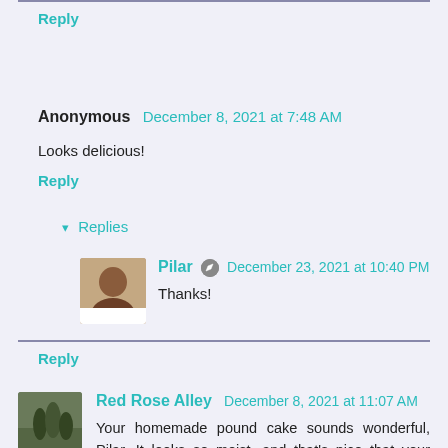Reply
Anonymous  December 8, 2021 at 7:48 AM
Looks delicious!
Reply
▾ Replies
Pilar  December 23, 2021 at 10:40 PM
Thanks!
Reply
Red Rose Alley  December 8, 2021 at 11:07 AM
Your homemade pound cake sounds wonderful, Pilar. It looks so moist, and that's nice that your Mom gives them as gifts. What a special gift that would be. I think the